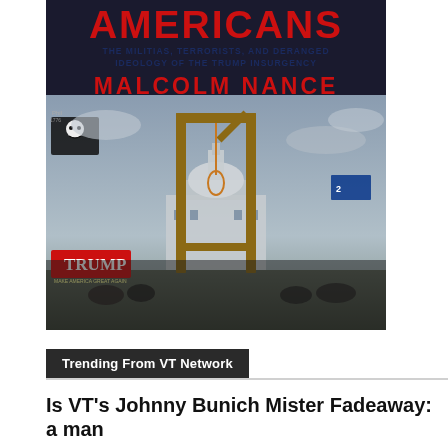[Figure (photo): Book cover: 'Americans' by Malcolm Nance — subtitle 'The Militias, Terrorists, and Deranged Ideology of the Trump Insurgency'. Shows a gallows with a noose erected outside the US Capitol building, with Trump flags and crowd in background.]
Trending From VT Network
Is VT's Johnny Bunich Mister Fadeaway: a man